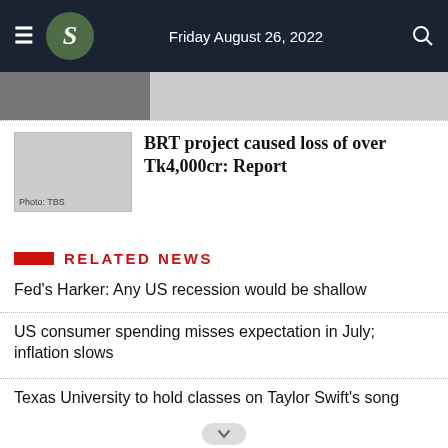Friday August 26, 2022
[Figure (photo): Partial photo visible at top of article, person in dark clothing]
BRT project caused loss of over Tk4,000cr: Report
RELATED NEWS
Fed's Harker: Any US recession would be shallow
US consumer spending misses expectation in July; inflation slows
Texas University to hold classes on Taylor Swift's song